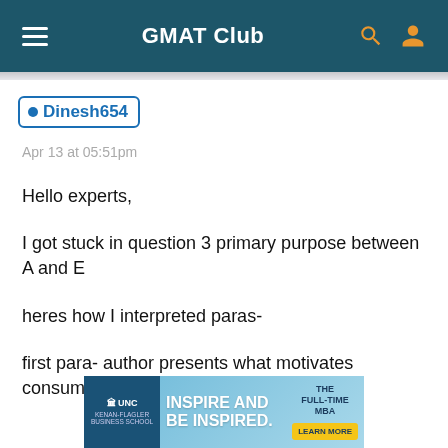GMAT Club
Dinesh654
Apr 13 at 05:51pm
Hello experts,
I got stuck in question 3 primary purpose between A and E
heres how I interpreted paras-
first para- author presents what motivates consumer to try new products
[Figure (infographic): UNC Kenan-Flagler Business School advertisement banner: INSPIRE AND BE INSPIRED. THE FULL-TIME MBA. LEARN MORE button.]